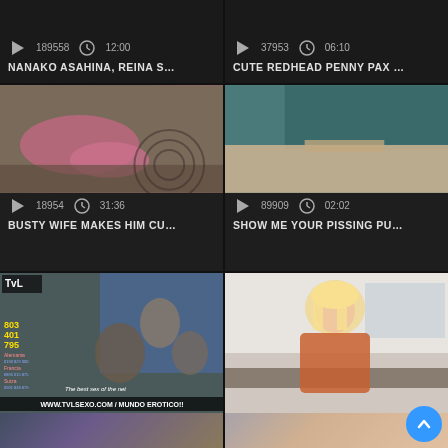[Figure (screenshot): Video thumbnail grid cell top-left: play icon, clock icon, view count 189558, duration 12:00, title NANAKO ASAHINA, REINA S...]
[Figure (screenshot): Video thumbnail grid cell top-right: play icon, clock icon, view count 37953, duration 06:10, title CUTE REDHEAD PENNY PAX ...]
[Figure (photo): Thumbnail image of woman in pink bikini lying down on patterned surface]
[Figure (photo): Thumbnail image showing dark teal skirt lifted, lower body]
[Figure (screenshot): Video meta: play icon, clock icon, view count 18954, duration 31:36, title BUSTY WIFE MAKES HIM CU...]
[Figure (screenshot): Video meta: play icon, clock icon, view count 89909, duration 02:02, title SHOW ME YOUR PISSING PU...]
[Figure (photo): TV show screenshot with TvL logo, numbers 803 401 795, text The best sex of the net, website WWW.TVLSEXO.COM / MUNDO EROTICO!!]
[Figure (photo): Blonde woman in orange top sitting at desk in office setting, blue scroll-to-top button overlay]